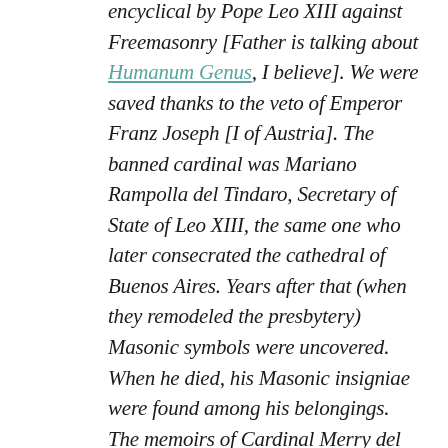encyclical by Pope Leo XIII against Freemasonry [Father is talking about Humanum Genus, I believe]. We were saved thanks to the veto of Emperor Franz Joseph [I of Austria]. The banned cardinal was Mariano Rampolla del Tindaro, Secretary of State of Leo XIII, the same one who later consecrated the cathedral of Buenos Aires. Years after that (when they remodeled the presbytery) Masonic symbols were uncovered. When he died, his Masonic insigniae were found among his belongings. The memoirs of Cardinal Merry del Val, secretary of state of Saint Pius X, recall the concern of the Pope for the war that would come and that would result in the religio depopulata, [predicted by St. Malachi] the destruction of religion. The First World War